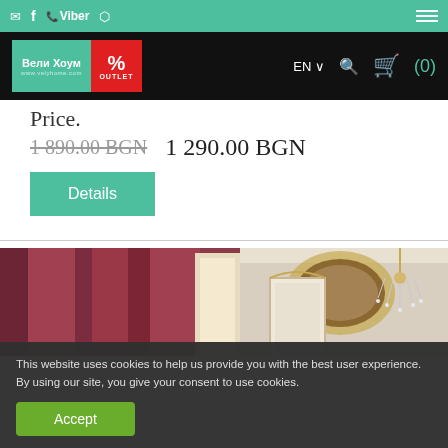email | f | Viber | Instagram | [menu]
[Figure (logo): Вели Хоум % OUTLET logo with green and red blocks, EN language selector, search icon, cart (0)]
Price.
1 890.00 BGN  1 290.00 BGN
Details
[Figure (photo): Luxury interior with red/burgundy curtains on the left and a crystal chandelier with ornate golden mirror on the right]
This website uses cookies to help us provide you with the best user experience. By using our site, you give your consent to use cookies.
Accept